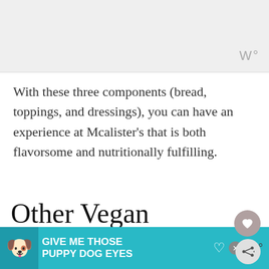[Figure (screenshot): Top banner/header area with light gray background and stylized 'W°' wordmark in gray at top right]
With these three components (bread, toppings, and dressings), you can have an experience at Mcalister's that is both flavorsome and nutritionally fulfilling.
Other Vegan Options at Mcalister's Deli
[Figure (screenshot): WHAT'S NEXT panel with Jersey Mike's logo and text 'Every Vegan Option at...']
[Figure (screenshot): Bottom advertisement banner: 'GIVE ME THOSE PUPPY DOG EYES' with dog image on teal background, with close button and W° wordmark]